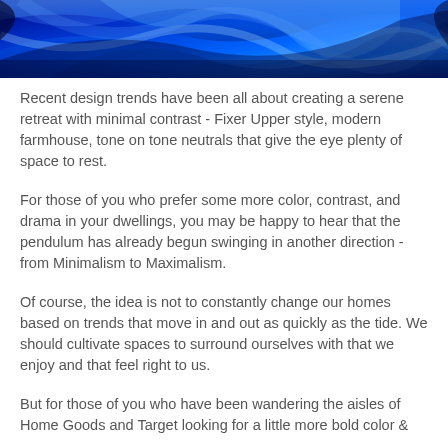[Figure (photo): Abstract blue swirling fabric or light texture filling the top banner area]
Recent design trends have been all about creating a serene retreat with minimal contrast - Fixer Upper style, modern farmhouse, tone on tone neutrals that give the eye plenty of space to rest.
For those of you who prefer some more color, contrast, and drama in your dwellings, you may be happy to hear that the pendulum has already begun swinging in another direction - from Minimalism to Maximalism.
Of course, the idea is not to constantly change our homes based on trends that move in and out as quickly as the tide. We should cultivate spaces to surround ourselves with that we enjoy and that feel right to us.
But for those of you who have been wandering the aisles of Home Goods and Target looking for a little more bold color &